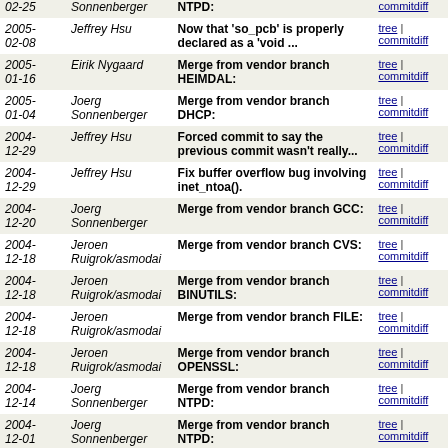| Date | Author | Message | Links |
| --- | --- | --- | --- |
| 02-25 | Sonnenberger | NTPD: | tree | commitdiff |
| 2005-02-08 | Jeffrey Hsu | Now that 'so_pcb' is properly declared as a 'void ... | tree | commitdiff |
| 2005-01-16 | Eirik Nygaard | Merge from vendor branch HEIMDAL: | tree | commitdiff |
| 2005-01-04 | Joerg Sonnenberger | Merge from vendor branch DHCP: | tree | commitdiff |
| 2004-12-29 | Jeffrey Hsu | Forced commit to say the previous commit wasn't really... | tree | commitdiff |
| 2004-12-29 | Jeffrey Hsu | Fix buffer overflow bug involving inet_ntoa(). | tree | commitdiff |
| 2004-12-20 | Joerg Sonnenberger | Merge from vendor branch GCC: | tree | commitdiff |
| 2004-12-18 | Jeroen Ruigrok/asmodai | Merge from vendor branch CVS: | tree | commitdiff |
| 2004-12-18 | Jeroen Ruigrok/asmodai | Merge from vendor branch BINUTILS: | tree | commitdiff |
| 2004-12-18 | Jeroen Ruigrok/asmodai | Merge from vendor branch FILE: | tree | commitdiff |
| 2004-12-18 | Jeroen Ruigrok/asmodai | Merge from vendor branch OPENSSL: | tree | commitdiff |
| 2004-12-14 | Joerg Sonnenberger | Merge from vendor branch NTPD: | tree | commitdiff |
| 2004-12-01 | Joerg Sonnenberger | Merge from vendor branch NTPD: | tree | commitdiff |